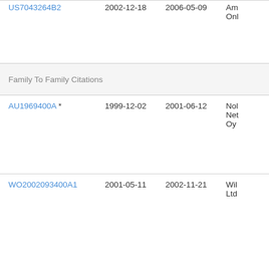| Publication | Filing Date | Publication Date | Assignee |
| --- | --- | --- | --- |
| US7043264B2 (truncated top) | 2002-12-18 | 2006-05-09 | Am... Onl... |
| Family To Family Citations |  |  |  |
| AU1969400A * | 1999-12-02 | 2001-06-12 | Nol... Net... Oy |
| WO2002093400A1 | 2001-05-11 | 2002-11-21 | Wil... Ltd |
| US20030100320A1 * | 2001-10-31 | 2003-05-29 | Pe... |